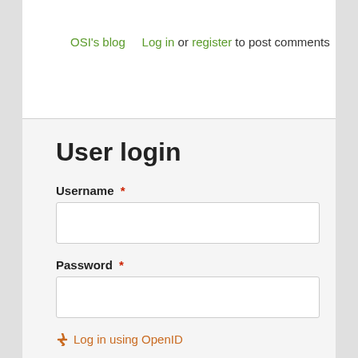OSI's blog   Log in or register to post comments
User login
Username *
Password *
Log in using OpenID